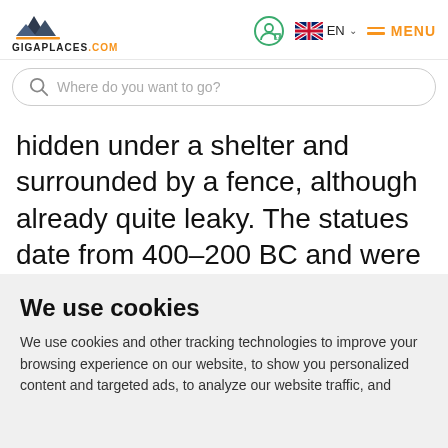GIGAPLACES.COM — EN MENU
Where do you want to go?
hidden under a shelter and surrounded by a fence, although already quite leaky. The statues date from 400–200 BC and were created by the Celts. The cross on the
We use cookies
We use cookies and other tracking technologies to improve your browsing experience on our website, to show you personalized content and targeted ads, to analyze our website traffic, and